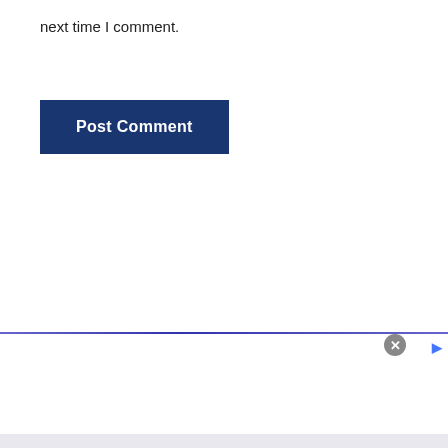next time I comment.
Post Comment
[Figure (screenshot): NFL Shop advertisement banner with a navy football jersey image, text 'NFL Shop', 'Free shipping on orders over $25', 'www.nflshop.com', a forward navigation button circle, and a close X button]